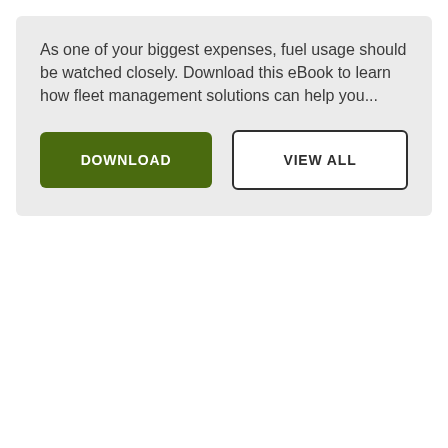As one of your biggest expenses, fuel usage should be watched closely. Download this eBook to learn how fleet management solutions can help you...